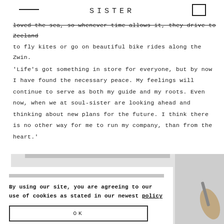SISTER
loved the sea, so whenever time allows it, they drive to Zeeland to fly kites or go on beautiful bike rides along the Zwin.
'Life's got something in store for everyone, but by now I have found the necessary peace. My feelings will continue to serve as both my guide and my roots. Even now, when we at soul-sister are looking ahead and thinking about new plans for the future. I think there is no other way for me to run my company, than from the heart.'
By using our site, you are agreeing to our use of cookies as stated in our newest policy
OK
[Figure (photo): A cookie consent overlay on top of a partially visible website page showing a hand holding a pen, with gray background image behind.]